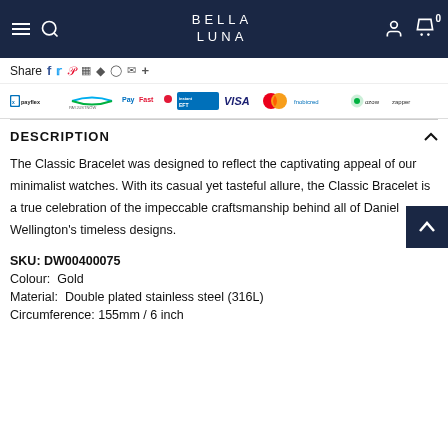BELLA LUNA
Share
[Figure (logo): Payment method logos: payflex, PayJustNow, PayFast, Instant EFT, VISA, Mastercard, fnobicred, ozow, zapper]
DESCRIPTION
The Classic Bracelet was designed to reflect the captivating appeal of our minimalist watches. With its casual yet tasteful allure, the Classic Bracelet is a true celebration of the impeccable craftsmanship behind all of Daniel Wellington's timeless designs.
SKU: DW00400075
Colour:  Gold
Material:  Double plated stainless steel (316L)
Circumference: 155mm / 6 inch